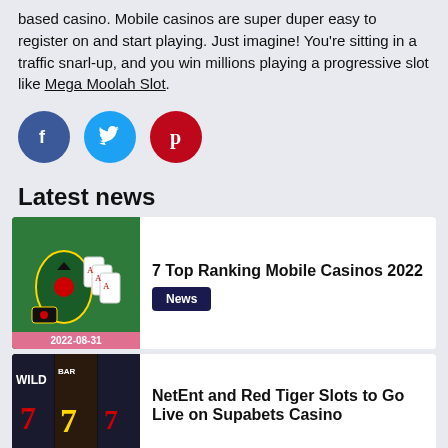based casino. Mobile casinos are super duper easy to register on and start playing. Just imagine! You're sitting in a traffic snarl-up, and you win millions playing a progressive slot like Mega Moolah Slot.
[Figure (illustration): Three social media icon circles: Facebook (dark blue with 'f'), Twitter (light blue with bird), Pinterest (red with 'p')]
Latest news
[Figure (photo): Casino table with playing cards showing aces and a game chip, date badge 2022-08-31]
7 Top Ranking Mobile Casinos 2022
News
[Figure (photo): Slot machine showing WILD and number 7 symbols]
NetEnt and Red Tiger Slots to Go Live on Supabets Casino